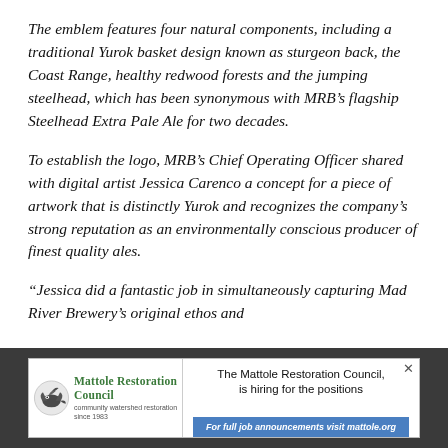The emblem features four natural components, including a traditional Yurok basket design known as sturgeon back, the Coast Range, healthy redwood forests and the jumping steelhead, which has been synonymous with MRB's flagship Steelhead Extra Pale Ale for two decades.
To establish the logo, MRB's Chief Operating Officer shared with digital artist Jessica Carenco a concept for a piece of artwork that is distinctly Yurok and recognizes the company's strong reputation as an environmentally conscious producer of finest quality ales.
“Jessica did a fantastic job in simultaneously capturing Mad River Brewery’s original ethos and
[Figure (infographic): Advertisement for Mattole Restoration Council showing organization logo with bird graphic, organization name in green, tagline 'community watershed restoration since 1983', and text 'The Mattole Restoration Council, is hiring for the positions' with a blue button reading 'For full job announcements visit mattole.org']